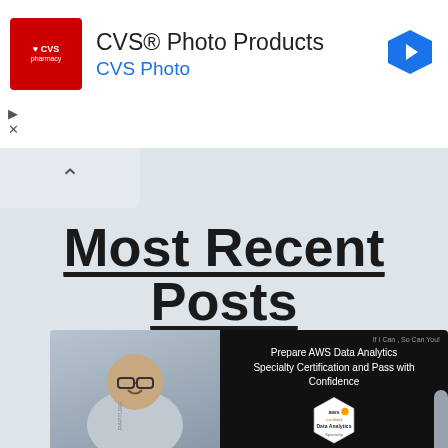[Figure (infographic): CVS Pharmacy advertisement banner with red logo, CVS Photo Products heading, CVS Photo subtitle in blue, and a blue navigation arrow icon on the right]
[Figure (infographic): Collapsed panel indicator with chevron/up-arrow on a light blue-gray background]
Most Recent Posts
[Figure (photo): Blog post thumbnail image showing a smiling man in a gray hoodie on the left, and an AWS certification card on the right with text: 'If I Can, So Can You!', 'Prepare AWS Data Analytics Specialty Certification and Pass with Confidence', and an aws certified Data Analytics Specialty hexagon badge]